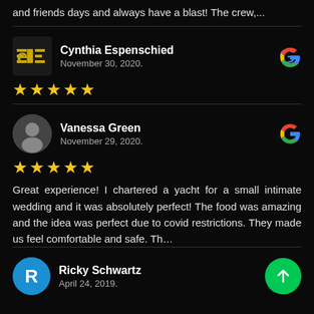and friends days and always have a blast! The crew,...
Cynthia Espenschied
November 30, 2020.
★★★★★
Vanessa Green
November 29, 2020.
★★★★★
Great experience! I chartered a yacht for a small intimate wedding and it was absolutely perfect! The food was amazing and the idea was perfect due to covid restrictions. They made us feel comfortable and safe. Th...
Ricky Schwartz
April 24, 2019.